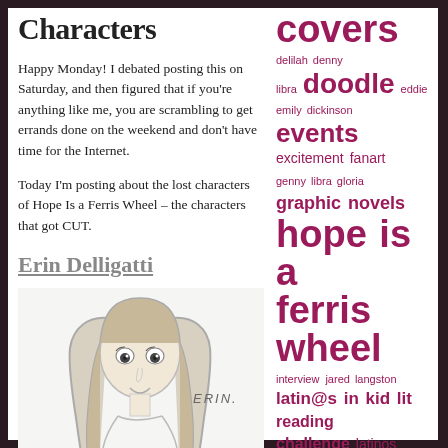Characters
Happy Monday! I debated posting this on Saturday, and then figured that if you're anything like me, you are scrambling to get errands done on the weekend and don't have time for the Internet.
Today I'm posting about the lost characters of Hope Is a Ferris Wheel – the characters that got CUT.
Erin Delligatti
[Figure (illustration): Pencil sketch of a girl named Erin with shoulder-length hair, labeled 'ERIN.' in handwritten text]
covers delilah denny libra doodle eddie emily dickinson events excitement fanart genny libra gloria graphic novels hope is a ferris wheel interview jared langston latin@s in kid lit reading challenge latinos in kidlit challenge manga middle grade miss fergusson mr. keyes mr. savage nanowrimo news nicky now reading paper moon personal